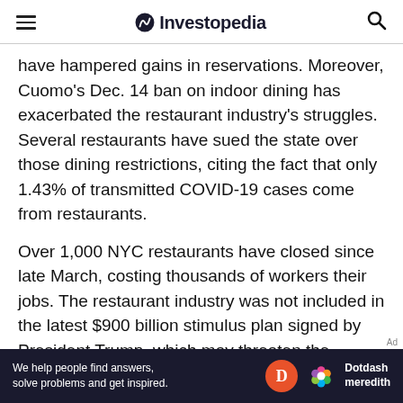Investopedia
have hampered gains in reservations. Moreover, Cuomo's Dec. 14 ban on indoor dining has exacerbated the restaurant industry's struggles. Several restaurants have sued the state over those dining restrictions, citing the fact that only 1.43% of transmitted COVID-19 cases come from restaurants.
Over 1,000 NYC restaurants have closed since late March, costing thousands of workers their jobs. The restaurant industry was not included in the latest $900 billion stimulus plan signed by President Trump, which may threaten the survivability of hundreds more restaurants. Nonetheless, the industry is hoping the
[Figure (other): Dotdash Meredith advertisement banner: 'We help people find answers, solve problems and get inspired.' with Dotdash Meredith logo]